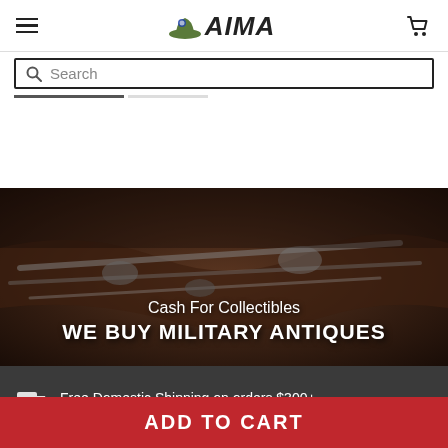AIMA - navigation header with hamburger menu, logo, and cart icon
Search
[Figure (screenshot): Hero banner showing antique military weapons (pistols, swords) with overlay text: Cash For Collectibles / WE BUY MILITARY ANTIQUES]
Cash For Collectibles
WE BUY MILITARY ANTIQUES
Free Domestic Shipping on orders $300+
Hassle Free 30 Day Return Period
ADD TO CART